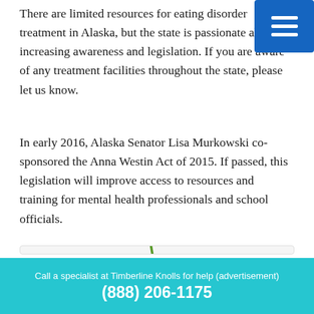There are limited resources for eating disorder treatment in Alaska, but the state is passionate about increasing awareness and legislation. If you are aware of any treatment facilities throughout the state, please let us know.
In early 2016, Alaska Senator Lisa Murkowski co-sponsored the Anna Westin Act of 2015. If passed, this legislation will improve access to resources and training for mental health professionals and school officials.
[Figure (logo): Green leaf/plant logo, partially visible at bottom of page]
Call a specialist at Timberline Knolls for help (advertisement)
(888) 206-1175